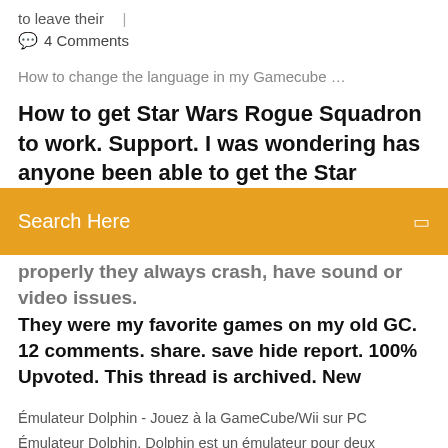to leave their  |
💬  4 Comments
How to change the language in my Gamecube …
How to get Star Wars Rogue Squadron to work. Support. I was wondering has anyone been able to get the Star
Search Here
properly they always crash, have sound or video issues. They were my favorite games on my old GC. 12 comments. share. save hide report. 100% Upvoted. This thread is archived. New
Émulateur Dolphin - Jouez à la GameCube/Wii sur PC Émulateur Dolphin. Dolphin est un émulateur pour deux récentes consoles de jeu de Nintendo : la GameCube et la Wii.Il permet aux joueurs sur PC d'apprécier les jeux réalisés pour ces deux consoles en full HD (1080p) avec différentes améliorations : compatibilité avec tous les contrôleurs de PC, vitesse turbo, jeu en ligne en